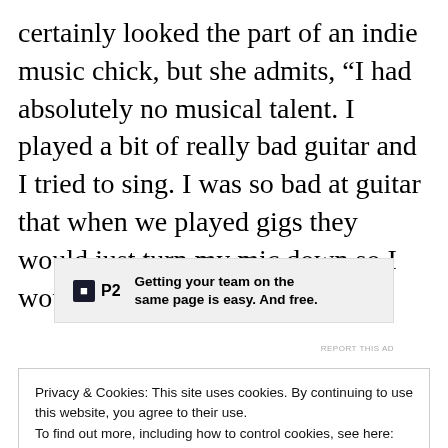certainly looked the part of an indie music chick, but she admits, “I had absolutely no musical talent. I played a bit of really bad guitar and I tried to sing. I was so bad at guitar that when we played gigs they would just turn my mic down so I would just look the part.”
[Figure (other): P2 advertisement banner: logo with dark square icon and 'P2' text, tagline 'Getting your team on the same page is easy. And free.']
Privacy & Cookies: This site uses cookies. By continuing to use this website, you agree to their use.
To find out more, including how to control cookies, see here:
Cookie Policy
Close and accept